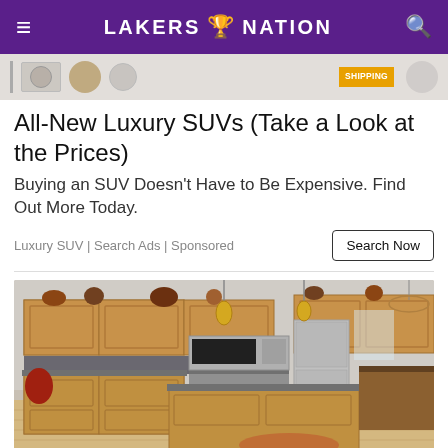LAKERS NATION
[Figure (screenshot): Ad banner strip with product images and SHIPPING badge]
All-New Luxury SUVs (Take a Look at the Prices)
Buying an SUV Doesn't Have to Be Expensive. Find Out More Today.
Luxury SUV | Search Ads | Sponsored
[Figure (photo): Interior kitchen photo showing wooden cabinets, kitchen island with dark countertop, stainless steel appliances, pendant lights, and dining area in background]